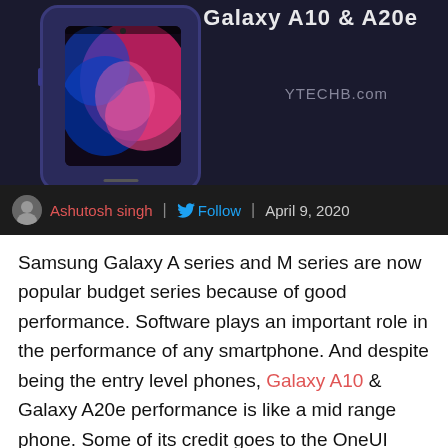[Figure (screenshot): Screenshot of a tech article header showing a Samsung Galaxy A10 phone mockup with colorful abstract wallpaper on a dark navy background, with YTECHB.com watermark]
Ashutosh singh | Follow | April 9, 2020
Samsung Galaxy A series and M series are now popular budget series because of good performance. Software plays an important role in the performance of any smartphone. And despite being the entry level phones, Galaxy A10 & Galaxy A20e performance is like a mid range phone. Some of its credit goes to the OneUI which is Samsung's new custom UI. Last year both phones released with Android 9 based